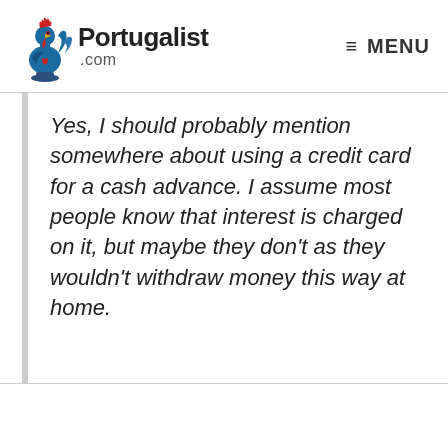Portugalist .com  ≡ MENU
Yes, I should probably mention somewhere about using a credit card for a cash advance. I assume most people know that interest is charged on it, but maybe they don't as they wouldn't withdraw money this way at home.